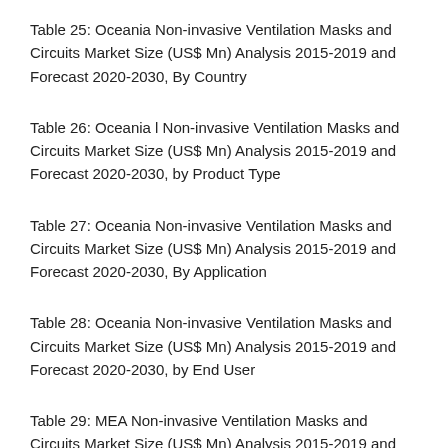Table 25: Oceania Non-invasive Ventilation Masks and Circuits Market Size (US$ Mn) Analysis 2015-2019 and Forecast 2020-2030, By Country
Table 26: Oceania l Non-invasive Ventilation Masks and Circuits Market Size (US$ Mn) Analysis 2015-2019 and Forecast 2020-2030, by Product Type
Table 27: Oceania Non-invasive Ventilation Masks and Circuits Market Size (US$ Mn) Analysis 2015-2019 and Forecast 2020-2030, By Application
Table 28: Oceania Non-invasive Ventilation Masks and Circuits Market Size (US$ Mn) Analysis 2015-2019 and Forecast 2020-2030, by End User
Table 29: MEA Non-invasive Ventilation Masks and Circuits Market Size (US$ Mn) Analysis 2015-2019 and Forecast 2020-2030, By Country